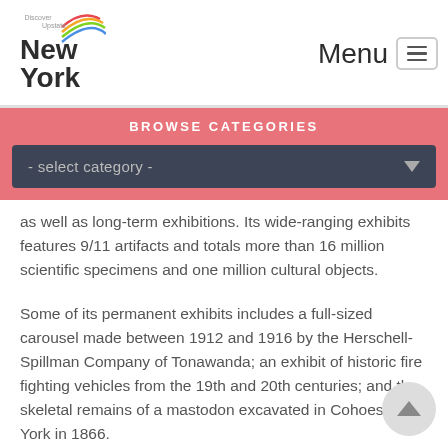Discover Upstate New York — Menu
BROWSE CATEGORIES
- select category -
as well as long-term exhibitions. Its wide-ranging exhibits features 9/11 artifacts and totals more than 16 million scientific specimens and one million cultural objects.
Some of its permanent exhibits includes a full-sized carousel made between 1912 and 1916 by the Herschell-Spillman Company of Tonawanda; an exhibit of historic fire fighting vehicles from the 19th and 20th centuries; and the skeletal remains of a mastodon excavated in Cohoes, New York in 1866.